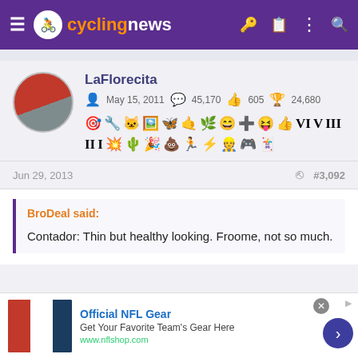cyclingnews
LaFlorecita | May 15, 2011 | 45,170 | 605 | 24,680
Jun 29, 2013  #3,092
BroDeal said:
Contador: Thin but healthy looking. Froome, not so much.
[Figure (screenshot): Advertisement banner for Official NFL Gear with image of NFL jerseys and link to www.nflshop.com]